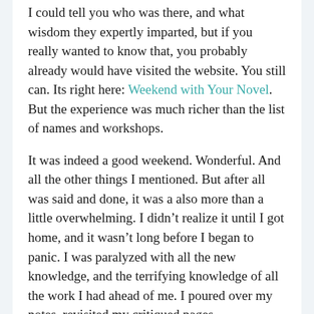I could tell you who was there, and what wisdom they expertly imparted, but if you really wanted to know that, you probably already would have visited the website.  You still can.  Its right here: Weekend with Your Novel.  But the experience was much richer than the list of names and workshops.
It was indeed a good weekend.  Wonderful.  And all the other things I mentioned.  But after all was said and done, it was a also more than a little overwhelming.  I didn't realize it until I got home, and it wasn't long before I began to panic.  I was paralyzed with all the new knowledge, and the terrifying knowledge of all the work I had ahead of me.  I poured over my notes, revisited my critiqued pages, remembered the missions I had taken on in my brief guerrilla writing experience, and promptly found myself incapable of doing a thing.